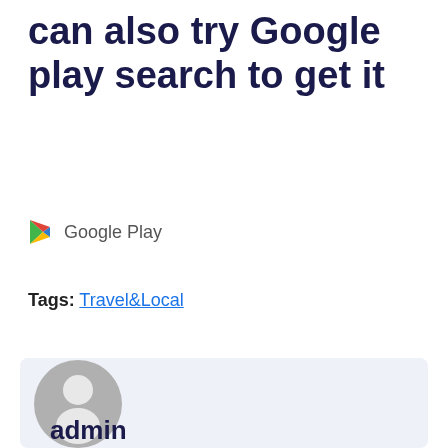can also try Google play search to get it
[Figure (logo): Google Play logo triangle icon with text 'Google Play']
Tags: Travel&Local
[Figure (illustration): Author card with grey default user avatar circle and partial text 'admin' at the bottom]